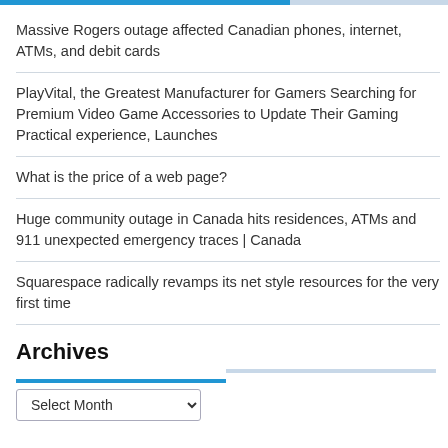Massive Rogers outage affected Canadian phones, internet, ATMs, and debit cards
PlayVital, the Greatest Manufacturer for Gamers Searching for Premium Video Game Accessories to Update Their Gaming Practical experience, Launches
What is the price of a web page?
Huge community outage in Canada hits residences, ATMs and 911 unexpected emergency traces | Canada
Squarespace radically revamps its net style resources for the very first time
Archives